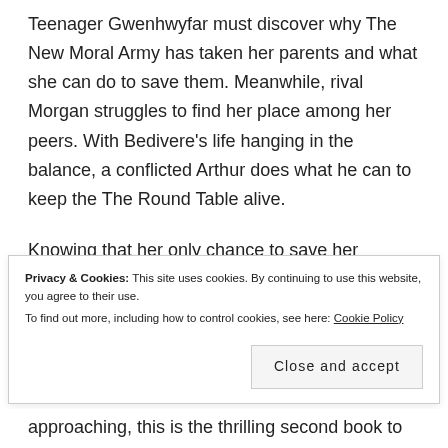Teenager Gwenhwyfar must discover why The New Moral Army has taken her parents and what she can do to save them. Meanwhile, rival Morgan struggles to find her place among her peers. With Bedivere's life hanging in the balance, a conflicted Arthur does what he can to keep the The Round Table alive.
Knowing that her only chance to save her parents is to discover more about the terrorist cell Free Countries, Gwenhwyfar searches for their leader
Privacy & Cookies: This site uses cookies. By continuing to use this website, you agree to their use. To find out more, including how to control cookies, see here: Cookie Policy
approaching, this is the thrilling second book to